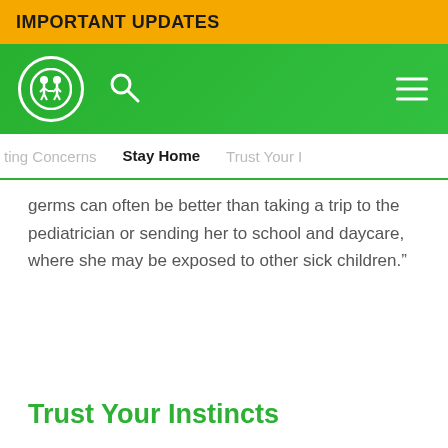IMPORTANT UPDATES
[Figure (logo): Children's health website navigation bar with logo (two children in a circle), search icon, and hamburger menu on green background]
ting Concerns   Stay Home   Trust Your I
germs can often be better than taking a trip to the pediatrician or sending her to school and daycare, where she may be exposed to other sick children."
Trust Your Instincts